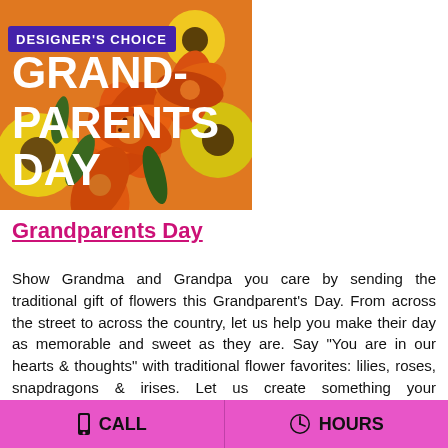[Figure (photo): Promotional flower arrangement photo for Grandparents Day. Shows orange lilies, yellow gerbera daisies, and other colorful flowers. Overlaid text reads 'DESIGNER'S CHOICE' in a purple ribbon banner at top, and 'GRAND-PARENTS DAY' in large white bold text below.]
Grandparents Day
Show Grandma and Grandpa you care by sending the traditional gift of flowers this Grandparent's Day. From across the street to across the country, let us help you make their day as memorable and sweet as they are. Say "You are in our hearts & thoughts" with traditional flower favorites: lilies, roses, snapdragons & irises. Let us create something your grandparents will love and
CALL   HOURS